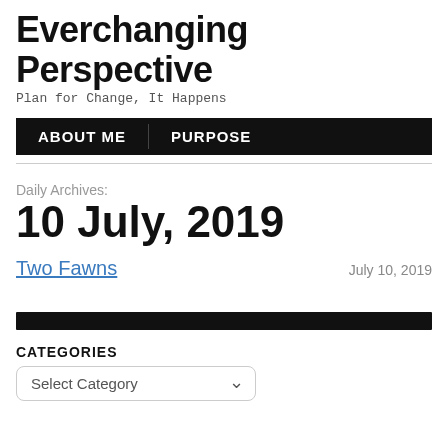Everchanging Perspective
Plan for Change, It Happens
ABOUT ME  PURPOSE
Daily Archives:
10 July, 2019
Two Fawns
July 10, 2019
CATEGORIES
Select Category